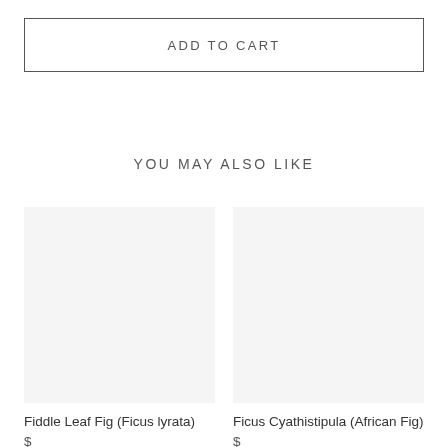ADD TO CART
YOU MAY ALSO LIKE
[Figure (photo): Product image placeholder for Fiddle Leaf Fig (Ficus lyrata) — light grey background]
Fiddle Leaf Fig (Ficus lyrata)
[Figure (photo): Product image placeholder for Ficus Cyathistipula (African Fig) — light grey background]
Ficus Cyathistipula (African Fig)